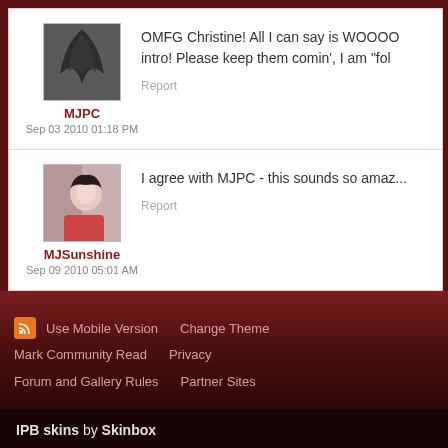MJPC
Sep 03 2010 01:18 PM
OMFG Christine! All I can say is WOOOO... intro! Please keep them comin', I am "fol...
Report
MJSunshine
Sep 09 2010 05:01 AM
I agree with MJPC - this sounds so amaz...
Report
Use Mobile Version  Change Theme  Mark Community Read  Privacy  Forum and Gallery Rules  Partner Sites
IPB skins by Skinbox